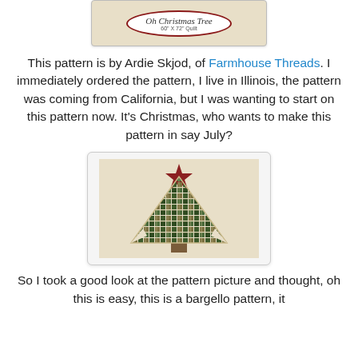[Figure (photo): Quilt pattern package label showing 'Oh Christmas Tree, 60" X 72" Quilt' in an oval on a beige/tan background with dark red border.]
This pattern is by Ardie Skjod, of Farmhouse Threads. I immediately ordered the pattern, I live in Illinois, the pattern was coming from California, but I was wanting to start on this pattern now. It's Christmas, who wants to make this pattern in say July?
[Figure (photo): Photo of a quilt block showing a Christmas tree made of patchwork squares in green/brown tones with a dark red star on top, on a light background.]
So I took a good look at the pattern picture and thought, oh this is easy, this is a bargello pattern, it